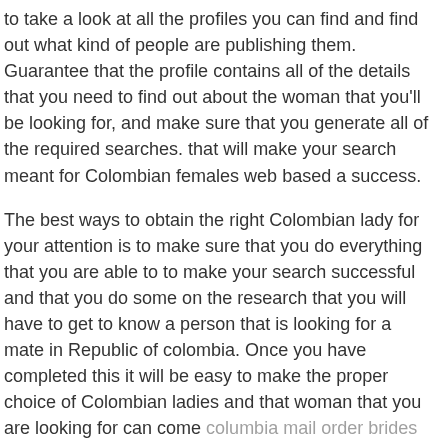to take a look at all the profiles you can find and find out what kind of people are publishing them. Guarantee that the profile contains all of the details that you need to find out about the woman that you'll be looking for, and make sure that you generate all of the required searches. that will make your search meant for Colombian females web based a success.
The best ways to obtain the right Colombian lady for your attention is to make sure that you do everything that you are able to to make your search successful and that you do some on the research that you will have to get to know a person that is looking for a mate in Republic of colombia. Once you have completed this it will be easy to make the proper choice of Colombian ladies and that woman that you are looking for can come columbia mail order brides https://mail-orderbride.info/colombian/ 2020 along to meet you.